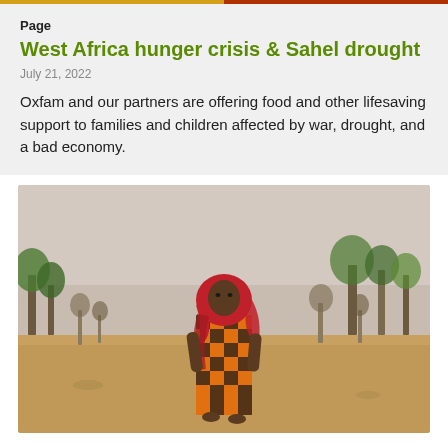Page
West Africa hunger crisis & Sahel drought
July 21, 2022
Oxfam and our partners are offering food and other lifesaving support to families and children affected by war, drought, and a bad economy.
[Figure (photo): A woman wearing a bright red headscarf and orange-and-black checked dress stands in a dry, arid landscape with sparse dry trees and shrubs in the background, typical of the Sahel region.]